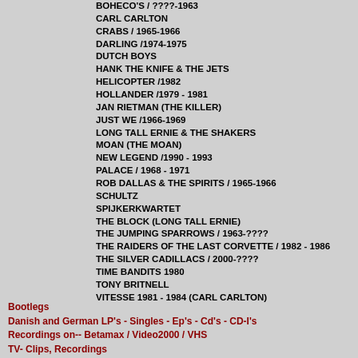BOHECO'S / ????-1963
CARL CARLTON
CRABS / 1965-1966
DARLING /1974-1975
DUTCH BOYS
HANK THE KNIFE & THE JETS
HELICOPTER /1982
HOLLANDER /1979 - 1981
JAN RIETMAN (THE KILLER)
JUST WE /1966-1969
LONG TALL ERNIE & THE SHAKERS
MOAN (THE MOAN)
NEW LEGEND /1990 - 1993
PALACE / 1968 - 1971
ROB DALLAS & THE SPIRITS / 1965-1966
SCHULTZ
SPIJKERKWARTET
THE BLOCK (LONG TALL ERNIE)
THE JUMPING SPARROWS / 1963-????
THE RAIDERS OF THE LAST CORVETTE / 1982 - 1986
THE SILVER CADILLACS / 2000-????
TIME BANDITS 1980
TONY BRITNELL
VITESSE 1981 - 1984 (CARL CARLTON)
Bootlegs
Danish and German LP's - Singles - Ep's - Cd's - CD-I's
Recordings on-- Betamax / Video2000 / VHS
TV- Clips, Recordings